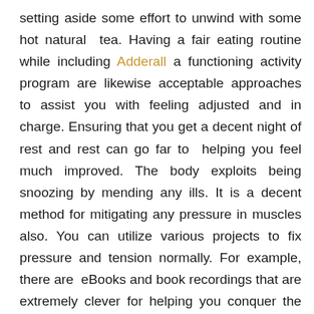setting aside some effort to unwind with some hot natural tea. Having a fair eating routine while including Adderall a functioning activity program are likewise acceptable approaches to assist you with feeling adjusted and in charge. Ensuring that you get a decent night of rest and rest can go far to helping you feel much improved. The body exploits being snoozing by mending any ills. It is a decent method for mitigating any pressure in muscles also. You can utilize various projects to fix pressure and tension normally. For example, there are eBooks and book recordings that are extremely clever for helping you conquer the sentiments of Narcolepsy and pressure. At the point when you figure out how to fix pressure and uneasiness normally, you will have the option to